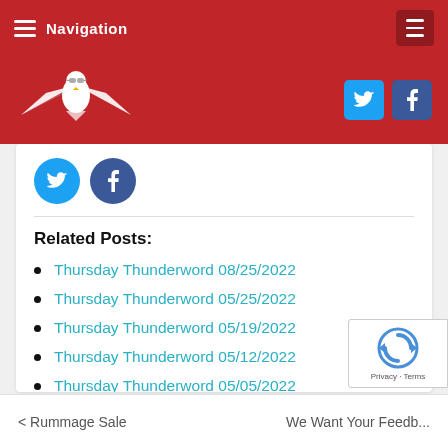Navigation
[Figure (logo): Eagle logo with wings spread, white on red background]
[Figure (illustration): Twitter and Facebook social share buttons (circular icons) inside content card]
Related Posts:
Thursday Thunderword 08/25/2022
Thursday Thunderword 05/25/2022
Thursday Thunderword 05/19/2022
Thursday Thunderword 05/12/2022
Thursday Thunderword 05/05/2022
< Rummage Sale    We Want Your Feedb...